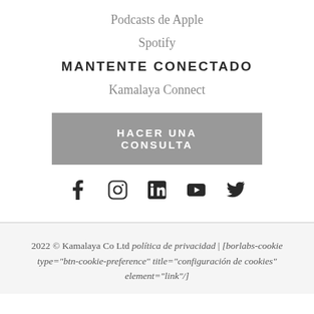Podcasts de Apple
Spotify
MANTENTE CONECTADO
Kamalaya Connect
HACER UNA CONSULTA
[Figure (other): Social media icons: Facebook, Instagram, LinkedIn, YouTube, Twitter]
2022 © Kamalaya Co Ltd política de privacidad | [borlabs-cookie type="btn-cookie-preference" title="configuración de cookies" element="link"/]